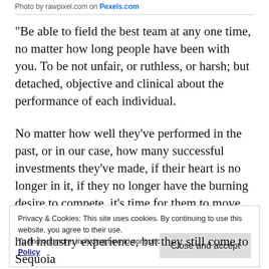Photo by rawpixel.com on Pexels.com
“Be able to field the best team at any one time, no matter how long people have been with you. To be not unfair, or ruthless, or harsh; but detached, objective and clinical about the performance of each individual.
No matter how well they’ve performed in the past, or in our case, how many successful investments they’ve made, if their heart is no longer in it, if they no longer have the burning desire to compete, it’s time for them to move on.
Privacy & Cookies: This site uses cookies. By continuing to use this website, you agree to their use. To find out more, including how to control cookies, see here: Cookie Policy
had industry experience, but they still come to Sequoia